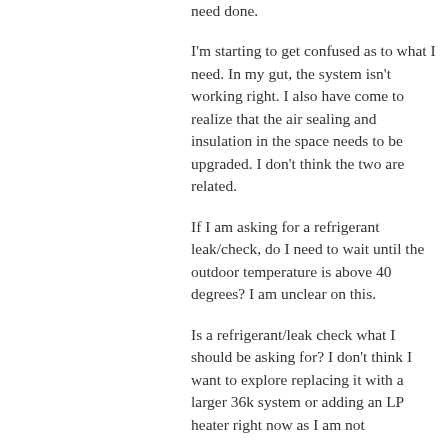need done.
I'm starting to get confused as to what I need. In my gut, the system isn't working right. I also have come to realize that the air sealing and insulation in the space needs to be upgraded. I don't think the two are related.
If I am asking for a refrigerant leak/check, do I need to wait until the outdoor temperature is above 40 degrees? I am unclear on this.
Is a refrigerant/leak check what I should be asking for? I don't think I want to explore replacing it with a larger 36k system or adding an LP heater right now as I am not